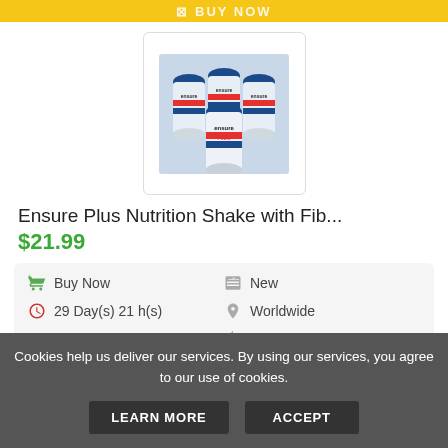[Figure (photo): Yellow 'Buy Now' button bar at top of page, partially cropped]
[Figure (photo): Product photo showing multiple Ensure Plus Nutrition Shake bottles with blue caps grouped together]
Ensure Plus Nutrition Shake with Fib...
$21.99
| Buy Now | New |
| 29 Day(s) 21 h(s) | Worldwide |
| 1 day | No Returns |
[Figure (other): Yellow 'BUY NOW' button at bottom of product section]
Cookies help us deliver our services. By using our services, you agree to our use of cookies.
LEARN MORE   ACCEPT